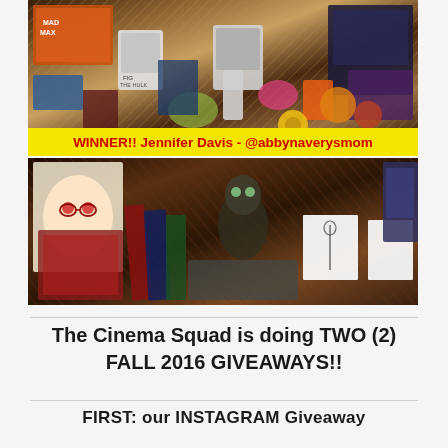[Figure (photo): A large photo showing a pile of comics, Funko Pop figures, merchandise, and giveaway prizes spread across a surface. In the middle of the photo is a yellow banner with red text reading 'WINNER!! Jennifer Davis - @abbynaverysmom'. The image appears to be in two sections — top half and bottom half of the merchandise pile.]
The Cinema Squad is doing TWO (2) FALL 2016 GIVEAWAYS!!
FIRST: our INSTAGRAM Giveaway